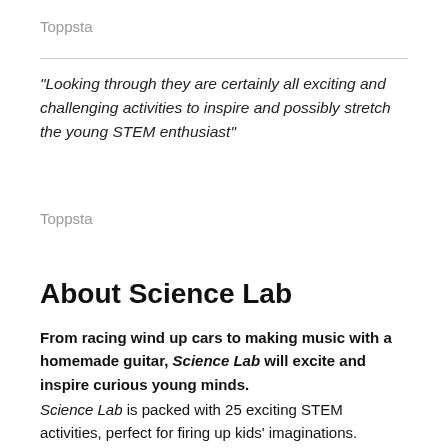Toppsta
"Looking through they are certainly all exciting and challenging activities to inspire and possibly stretch the young STEM enthusiast"
Toppsta
About Science Lab
From racing wind up cars to making music with a homemade guitar, Science Lab will excite and inspire curious young minds.
Science Lab is packed with 25 exciting STEM activities, perfect for firing up kids' imaginations. Explore and discover...